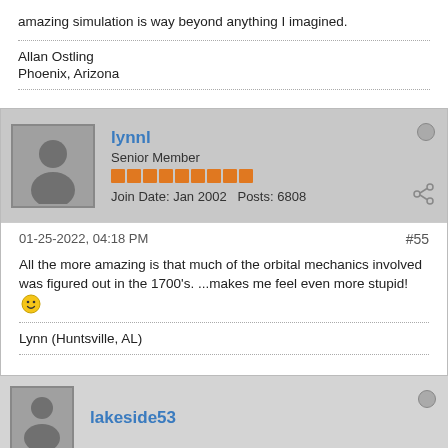amazing simulation is way beyond anything I imagined.
Allan Ostling
Phoenix, Arizona
lynnl
Senior Member
Join Date: Jan 2002   Posts: 6808
01-25-2022, 04:18 PM
#55
All the more amazing is that much of the orbital mechanics involved was figured out in the 1700's. ...makes me feel even more stupid!
Lynn (Huntsville, AL)
lakeside53